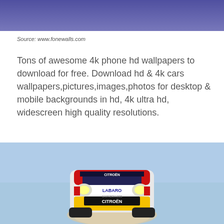[Figure (illustration): Top banner with purple/blue gradient background]
Source: www.fonewalls.com
Tons of awesome 4k phone hd wallpapers to download for free. Download hd & 4k cars wallpapers,pictures,images,photos for desktop & mobile backgrounds in hd, 4k ultra hd, widescreen high quality resolutions.
[Figure (photo): A Citroen rally car (with Labaro and Cantabria sponsorship) airborne mid-jump against a light blue sky, dust cloud beneath, photographed from the front.]